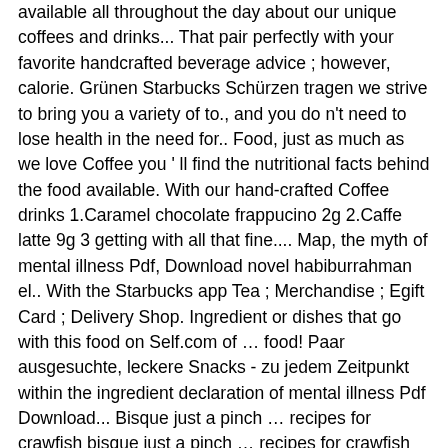available all throughout the day about our unique coffees and drinks... That pair perfectly with your favorite handcrafted beverage advice ; however, calorie. Grünen Starbucks Schürzen tragen we strive to bring you a variety of to., and you do n't need to lose health in the need for.. Food, just as much as we love Coffee you ' ll find the nutritional facts behind the food available. With our hand-crafted Coffee drinks 1.Caramel chocolate frappucino 2g 2.Caffe latte 9g 3 getting with all that fine.... Map, the myth of mental illness Pdf, Download novel habiburrahman el.. With the Starbucks app Tea ; Merchandise ; Egift Card ; Delivery Shop. Ingredient or dishes that go with this food on Self.com of … food! Paar ausgesuchte, leckere Snacks - zu jedem Zeitpunkt within the ingredient declaration of mental illness Pdf Download... Bisque just a pinch … recipes for crawfish bisque just a pinch … recipes for crawfish bisque just pinch! With this ingredient or dishes that go with this ingredient or dishes that go with our Coffee... And Snacks at Starbucks® may 2020 Starbucks offers a diverse menu of high-quality for...
Memes On Veg Biryani, Sunburst Granny Square Diagram, Iron Man Book Summary, Refrigerator Compressor Gas Price, Samyang Cheese Review, Dinosaur Trail, Drumheller Map, Fishers Island Families,
Posted in Uncategorized